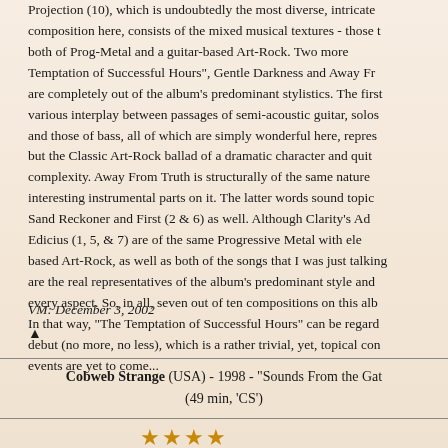Projection (10), which is undoubtedly the most diverse, intricate composition here, consists of the mixed musical textures - those the both of Prog-Metal and a guitar-based Art-Rock. Two more Temptation of Successful Hours", Gentle Darkness and Away Fro are completely out of the album's predominant stylistics. The first various interplay between passages of semi-acoustic guitar, solos and those of bass, all of which are simply wonderful here, repres but the Classic Art-Rock ballad of a dramatic character and quit complexity. Away From Truth is structurally of the same nature interesting instrumental parts on it. The latter words sound topic Sand Reckoner and First (2 & 6) as well. Although Clarity's Ad Edicius (1, 5, & 7) are of the same Progressive Metal with elen based Art-Rock, as well as both of the songs that I was just talking are the real representatives of the album's predominant style and every aspect. So, in all, seven out of ten compositions on this albu In that way, "The Temptation of Successful Hours" can be regarde debut (no more, no less), which is a rather trivial, yet, topical conc events are yet to come...
VM: December 3, 2002
▲
Cobweb Strange (USA) - 1998 - "Sounds From the Gat (49 min, 'CS')